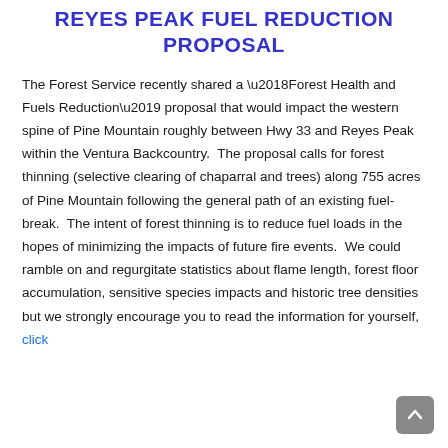REYES PEAK FUEL REDUCTION PROPOSAL
The Forest Service recently shared a ‘Forest Health and Fuels Reduction’ proposal that would impact the western spine of Pine Mountain roughly between Hwy 33 and Reyes Peak within the Ventura Backcountry.  The proposal calls for forest thinning (selective clearing of chaparral and trees) along 755 acres of Pine Mountain following the general path of an existing fuel-break.  The intent of forest thinning is to reduce fuel loads in the hopes of minimizing the impacts of future fire events.  We could ramble on and regurgitate statistics about flame length, forest floor accumulation, sensitive species impacts and historic tree densities but we strongly encourage you to read the information for yourself, click